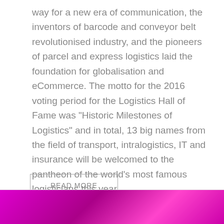way for a new era of communication, the inventors of barcode and conveyor belt revolutionised industry, and the pioneers of parcel and express logistics laid the foundation for globalisation and eCommerce. The motto for the 2016 voting period for the Logistics Hall of Fame was "Historic Milestones of Logistics" and in total, 13 big names from the field of transport, intralogistics, IT and insurance will be welcomed to the pantheon of the world's most famous logisticians this year.
READ MORE
[Figure (photo): Bottom strip showing a pink/magenta colored photo, partially visible at the bottom of the page]